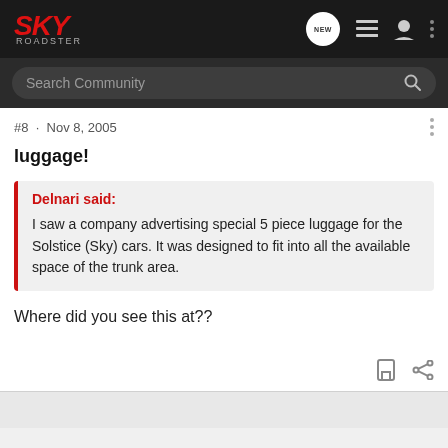[Figure (screenshot): Sky Roadster community forum website header with logo and navigation icons]
Search Community
#8 · Nov 8, 2005
luggage!
Delnari said: I saw a company advertising special 5 piece luggage for the Solstice (Sky) cars. It was designed to fit into all the available space of the trunk area.
Where did you see this at??